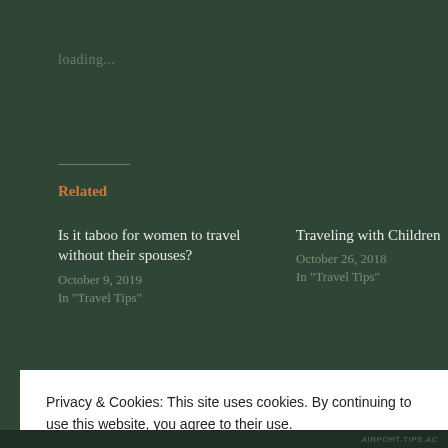loading...
Related
Is it taboo for women to travel without their spouses?
October 9, 2019
In "Travel Tips"
Traveling with Children
October 26, 2018
In "Travel Tips"
10 tips and 7 errors to avoid
Privacy & Cookies: This site uses cookies. By continuing to use this website, you agree to their use.
To find out more, including how to control cookies, see here: Cookie Policy
Close and accept
AIRPORT-TIPS.AC